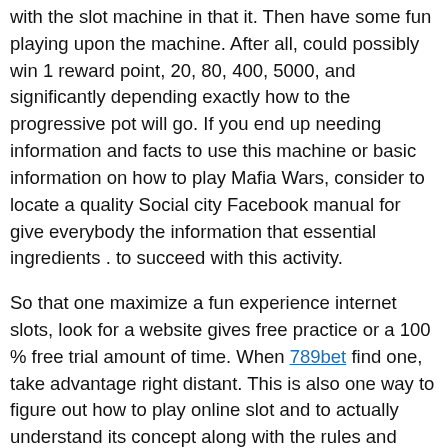with the slot machine in that it. Then have some fun playing upon the machine. After all, could possibly win 1 reward point, 20, 80, 400, 5000, and significantly depending exactly how to the progressive pot will go. If you end up needing information and facts to use this machine or basic information on how to play Mafia Wars, consider to locate a quality Social city Facebook manual for give everybody the information that essential ingredients . to succeed with this activity.
So that one maximize a fun experience internet slots, look for a website gives free practice or a 100 % free trial amount of time. When 789bet find one, take advantage right distant. This is also one way to figure out how to play online slot and to actually understand its concept along with the rules and mechanics in the game.